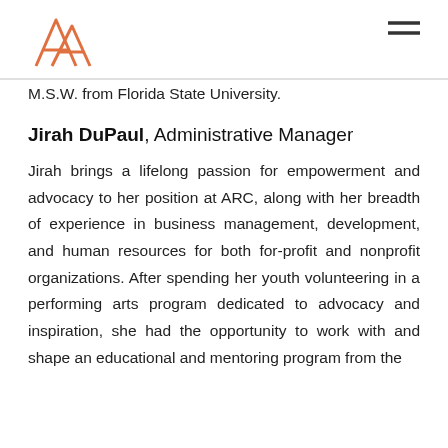ARC logo and navigation
M.S.W. from Florida State University.
Jirah DuPaul, Administrative Manager
Jirah brings a lifelong passion for empowerment and advocacy to her position at ARC, along with her breadth of experience in business management, development, and human resources for both for-profit and nonprofit organizations. After spending her youth volunteering in a performing arts program dedicated to advocacy and inspiration, she had the opportunity to work with and shape an educational and mentoring program from the